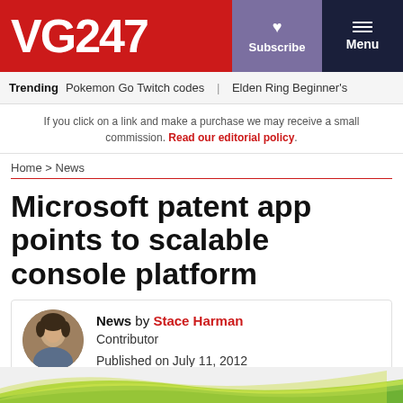VG247
Trending  Pokemon Go Twitch codes  |  Elden Ring Beginner's
If you click on a link and make a purchase we may receive a small commission. Read our editorial policy.
Home > News
Microsoft patent app points to scalable console platform
News by Stace Harman
Contributor
Published on July 11, 2012
[Figure (illustration): Green and yellow curved stripe pattern at bottom of page, resembling Xbox branding]